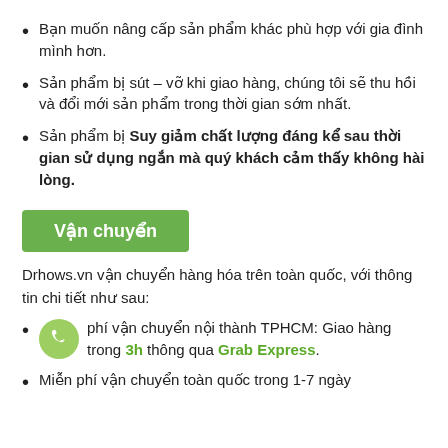Bạn muốn nâng cấp sản phẩm khác phù hợp với gia đình mình hơn.
Sản phẩm bị sút – vỡ khi giao hàng, chúng tôi sẽ thu hồi và đổi mới sản phẩm trong thời gian sớm nhất.
Sản phẩm bị Suy giảm chất lượng đáng kể sau thời gian sử dụng ngắn mà quý khách cảm thấy không hài lòng.
Vận chuyển
Drhows.vn vận chuyển hàng hóa trên toàn quốc, với thông tin chi tiết như sau:
Miễn phí vận chuyển nội thành TPHCM: Giao hàng trong 3h thông qua Grab Express.
Miễn phí vận chuyển toàn quốc trong 1-7 ngày